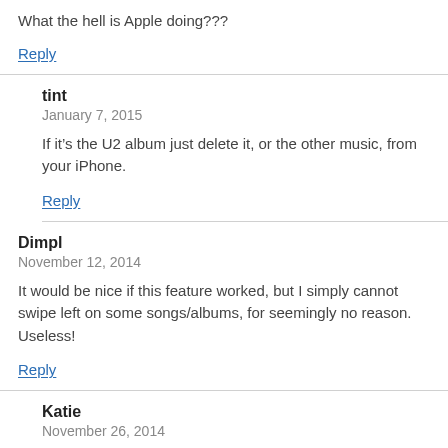What the hell is Apple doing???
Reply
tint
January 7, 2015
If it's the U2 album just delete it, or the other music, from your iPhone.
Reply
Dimpl
November 12, 2014
It would be nice if this feature worked, but I simply cannot swipe left on some songs/albums, for seemingly no reason. Useless!
Reply
Katie
November 26, 2014
I have the same issue…I have my itunes on my Mac set up to only sync songs that are